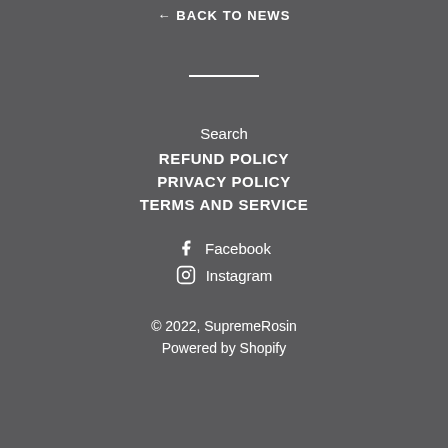← BACK TO NEWS
Search
REFUND POLICY
PRIVACY POLICY
TERMS AND SERVICE
Facebook
Instagram
© 2022, SupremeRosin
Powered by Shopify